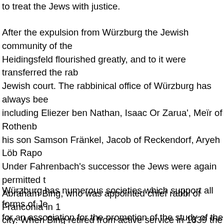to treat the Jews with justice.
After the expulsion from Würzburg the Jewish community of the Heidingsfeld flourished greatly, and to it were transferred the rabbinical Jewish court. The rabbinical office of Würzburg has always been including Eliezer ben Nathan, Isaac Or Zarua', Meïr of Rothenburg, his son Samson Fränkel, Jacob of Reckendorf, Aryeh Löb Rapoport. Under Fahrenbach's successor the Jews were again permitted to — Abraham Bing, who was appointed chief rabbi of Franconia in 1 — city. When Bing retired from active service in 1839 the chief rabbinate district rabbinate was created in its place. The first district rabbi — Baer Bamberger, who died in 1878 and was succeeded by his son — Seligmann Baer Bamberger founded various important institutions — teachers' seminary, and a yeshibah. He also originated the movement — Jewish hospital.
Würzburg has numerous societies which support all forms of Jewish — for an association for the promotion of the study of the Torah. The